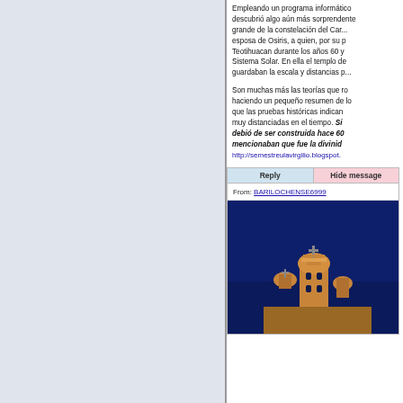Empleando un programa informát... descubrió algo aún más sorprende... grande de la constelación del Car... esposa de Osiris, a quien, por su... Teotihuacan durante los años 60 y... Sistema Solar. En ella el templo d... guardaban la escala y distancias p...
Son muchas más las teorías que n... haciendo un pequeño resumen de... que las pruebas históricas indican... muy distanciadas en el tiempo. Si debió de ser construida hace 60... mencionaban que fue la divinid... http://semestreulavirgilio.blogspot...
[Figure (screenshot): Reply and Hide message buttons followed by From: BARILOCHENSE6999 header and a photograph of a church tower against a dark blue night sky]